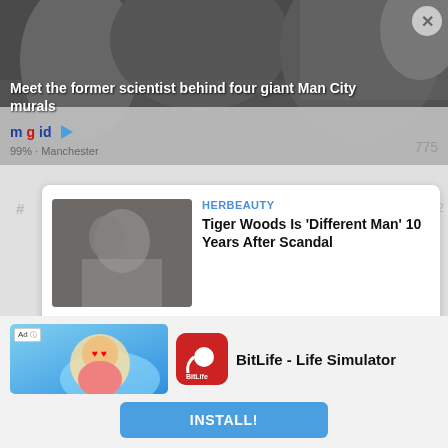[Figure (screenshot): Hero image showing people in street, partially obscured by overlay UI]
Meet the former scientist behind four giant Man City murals
mgid ▶
99% · Manchester
775
[Figure (photo): Thumbnail of Tiger Woods with a woman, black and white tones]
HERBEAUTY
Tiger Woods Is 'Different Man' 10 Years After Scandal
[Figure (photo): Thumbnail of three people in green outfits (Squid Game)]
BRAINBERRIES
The Squid Game: The Hidden Clues
[Figure (screenshot): Ad banner for BitLife - Life Simulator with cartoon baby graphic and BitLife app icon]
Ad
BitLife - Life Simulator
INSTALL!